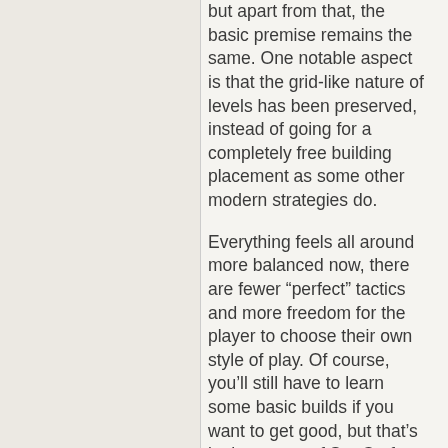but apart from that, the basic premise remains the same. One notable aspect is that the grid-like nature of levels has been preserved, instead of going for a completely free building placement as some other modern strategies do.
Everything feels all around more balanced now, there are fewer “perfect” tactics and more freedom for the player to choose their own style of play. Of course, you’ll still have to learn some basic builds if you want to get good, but that’s in the nature of StarCraft anyway. Races have been made more heavily reliant on the